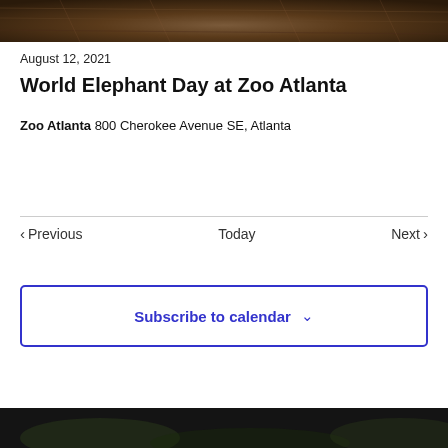[Figure (photo): Top portion of a photo showing an animal (elephant texture/skin), cropped at the top of the page]
August 12, 2021
World Elephant Day at Zoo Atlanta
Zoo Atlanta 800 Cherokee Avenue SE, Atlanta
Previous   Today   Next
Subscribe to calendar
[Figure (photo): Bottom portion of a photo (partially visible at bottom of page), dark image]